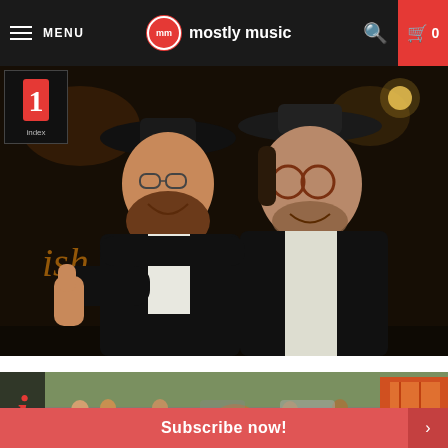MENU | mostly music | 0
[Figure (photo): Two men wearing black hats and suits smiling at camera outdoors at night, one giving thumbs up. Small red logo thumbnail in top-left corner.]
[Figure (photo): Outdoor crowd scene with people milling around a street event. Red and orange decorative elements visible on right.]
Subscribe now!